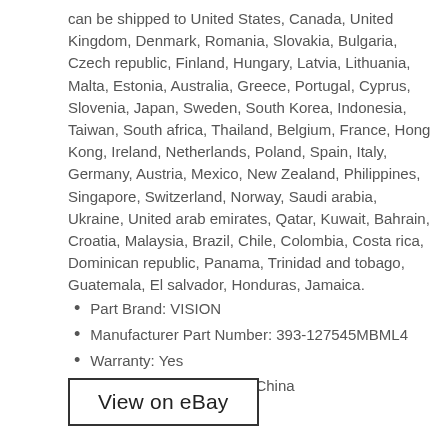can be shipped to United States, Canada, United Kingdom, Denmark, Romania, Slovakia, Bulgaria, Czech republic, Finland, Hungary, Latvia, Lithuania, Malta, Estonia, Australia, Greece, Portugal, Cyprus, Slovenia, Japan, Sweden, South Korea, Indonesia, Taiwan, South africa, Thailand, Belgium, France, Hong Kong, Ireland, Netherlands, Poland, Spain, Italy, Germany, Austria, Mexico, New Zealand, Philippines, Singapore, Switzerland, Norway, Saudi arabia, Ukraine, United arab emirates, Qatar, Kuwait, Bahrain, Croatia, Malaysia, Brazil, Chile, Colombia, Costa rica, Dominican republic, Panama, Trinidad and tobago, Guatemala, El salvador, Honduras, Jamaica.
Part Brand: VISION
Manufacturer Part Number: 393-127545MBML4
Warranty: Yes
Country of Manufacture: China
View on eBay